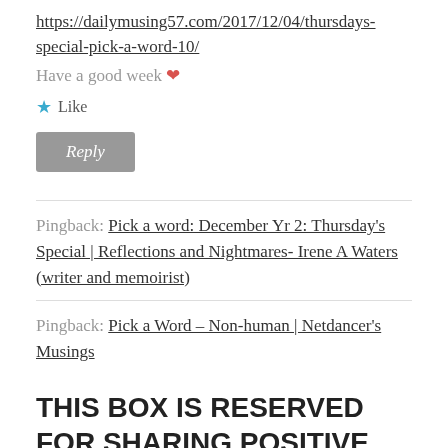https://dailymusing57.com/2017/12/04/thursdays-special-pick-a-word-10/
Have a good week ❤
★ Like
Reply
Pingback: Pick a word: December Yr 2: Thursday's Special | Reflections and Nightmares- Irene A Waters (writer and memoirist)
Pingback: Pick a Word – Non-human | Netdancer's Musings
THIS BOX IS RESERVED FOR SHARING POSITIVE VIBES.